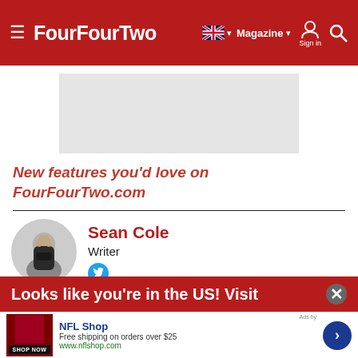FourFourTwo — Magazine | Sign in
[Figure (other): Gray advertisement placeholder rectangle]
New features you'd love on FourFourTwo.com
Sean Cole — Writer
[Figure (photo): Circular headshot of Sean Cole, a man with short hair against a white background]
Looks like you're in the US! Visit
NFL Shop — Free shipping on orders over $25 — www.nflshop.com — SHOP NOW